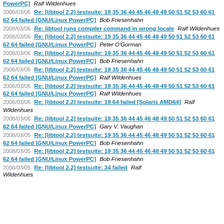PowerPC]   Ralf Wildenhues
2008/03/06   Re: [libtool 2.2] testsuite: 19 35 36 44 45 46 48 49 50 51 52 53 60 61 62 64 failed [GNU/Linux PowerPC]   Bob Friesenhahn
2008/03/06   Re: libtool runs compiler command in wrong locale   Ralf Wildenhues
2008/03/06   Re: [libtool 2.2] testsuite: 19 35 36 44 45 46 48 49 50 51 52 53 60 61 62 64 failed [GNU/Linux PowerPC]   Peter O'Gorman
2008/03/06   Re: [libtool 2.2] testsuite: 19 35 36 44 45 46 48 49 50 51 52 53 60 61 62 64 failed [GNU/Linux PowerPC]   Bob Friesenhahn
2008/03/06   Re: [libtool 2.2] testsuite: 19 35 36 44 45 46 48 49 50 51 52 53 60 61 62 64 failed [GNU/Linux PowerPC]   Ralf Wildenhues
2008/03/06   Re: [libtool 2.2] testsuite: 19 35 36 44 45 46 48 49 50 51 52 53 60 61 62 64 failed [GNU/Linux PowerPC]   Ralf Wildenhues
2008/03/06   Re: [libtool 2.2] testsuite: 19 64 failed [Solaris AMD64]   Ralf Wildenhues
2008/03/06   Re: [libtool 2.2] testsuite: 19 35 36 44 45 46 48 49 50 51 52 53 60 61 62 64 failed [GNU/Linux PowerPC]   Gary V. Vaughan
2008/03/05   Re: [libtool 2.2] testsuite: 19 35 36 44 45 46 48 49 50 51 52 53 60 61 62 64 failed [GNU/Linux PowerPC]   Bob Friesenhahn
2008/03/05   Re: [libtool 2.2] testsuite: 19 35 36 44 45 46 48 49 50 51 52 53 60 61 62 64 failed [GNU/Linux PowerPC]   Bob Friesenhahn
2008/03/05   Re: [libtool 2.2] testsuite: 34 failed   Ralf Wildenhues